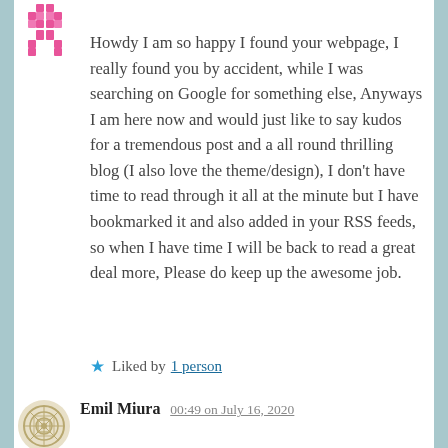[Figure (illustration): Pink pixel-art style avatar/icon at top left]
Howdy I am so happy I found your webpage, I really found you by accident, while I was searching on Google for something else, Anyways I am here now and would just like to say kudos for a tremendous post and a all round thrilling blog (I also love the theme/design), I don't have time to read through it all at the minute but I have bookmarked it and also added in your RSS feeds, so when I have time I will be back to read a great deal more, Please do keep up the awesome job.
★ Liked by 1 person
[Figure (illustration): Decorative circular pattern avatar for Emil Miura]
Emil Miura 00:49 on July 16, 2020
Hi there! This is my 1st comment here so I just wanted to give a quick shout out and tell you I really enjoy reading your blog posts. Can you